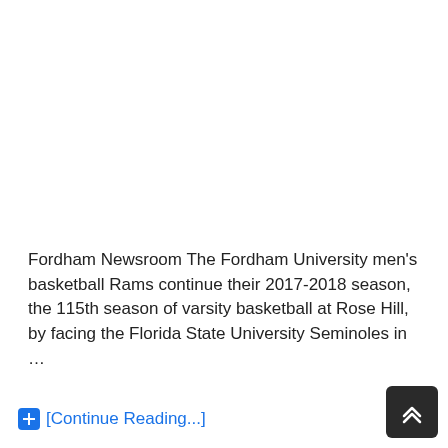Fordham Newsroom The Fordham University men's basketball Rams continue their 2017-2018 season, the 115th season of varsity basketball at Rose Hill, by facing the Florida State University Seminoles in …
[Continue Reading...]